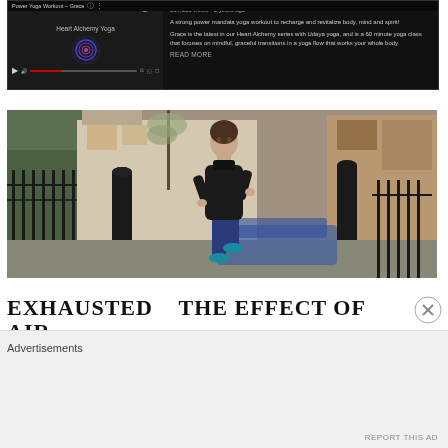[Figure (screenshot): YouTube video screenshot showing 'Power Yoga Workout - Grace' with Heart Alchemy Yoga thumbnail, video controls, view count '117,083 views - 2 years ago', and description text about a power mandala yoga workout]
[Figure (photo): Woman running outdoors on a city street wearing a black jacket and blue leggings, with black bollards, iron railings, trees, and buildings in the background]
EXHAUSTED   THE EFFECT OF AIR
Advertisements
REPORT THIS AD